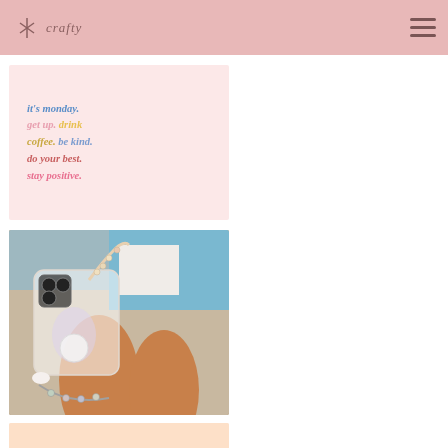crafty
[Figure (illustration): Pink motivational quote card reading: it's monday. get up. drink coffee. be kind. do your best. stay positive. — in multicolored italic bold text on a light pink background.]
[Figure (photo): A person holding a clear iridescent phone case with a beaded phone charm strap, outdoors near a pool.]
[Figure (illustration): Partial view of a peach/cream background card with a smiley face emoji and partial colorful text visible at the bottom of the page.]